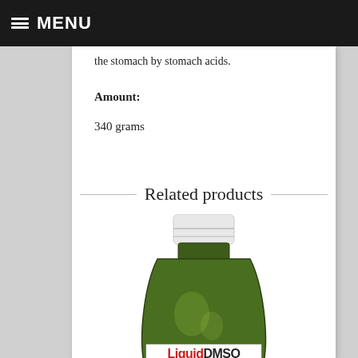MENU
the stomach by stomach acids.
Amount:
340 grams
Related products
[Figure (photo): Green glass bottle with white cap, labeled Liquid DMSO, partially cropped at bottom of page]